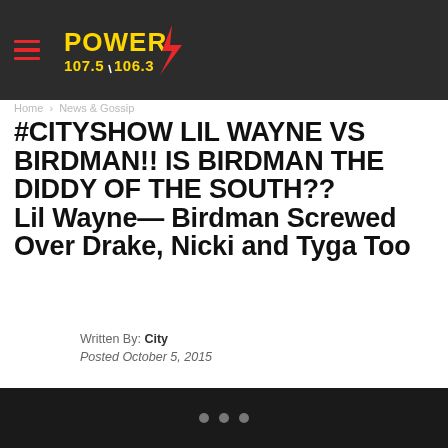Power 107.5 106.3
Home › News & Gossip
#CITYSHOW LIL WAYNE VS BIRDMAN!! IS BIRDMAN THE DIDDY OF THE SOUTH?? Lil Wayne— Birdman Screwed Over Drake, Nicki and Tyga Too
Written By: City
Posted October 5, 2015